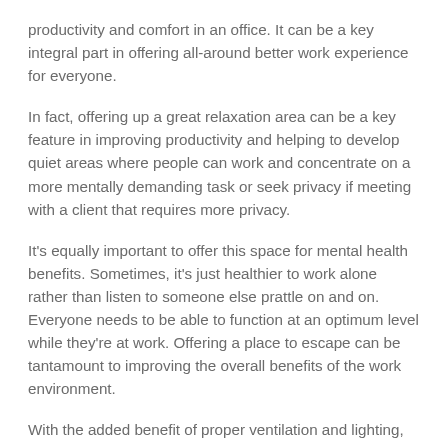productivity and comfort in an office. It can be a key integral part in offering all-around better work experience for everyone.
In fact, offering up a great relaxation area can be a key feature in improving productivity and helping to develop quiet areas where people can work and concentrate on a more mentally demanding task or seek privacy if meeting with a client that requires more privacy.
It's equally important to offer this space for mental health benefits. Sometimes, it's just healthier to work alone rather than listen to someone else prattle on and on. Everyone needs to be able to function at an optimum level while they're at work. Offering a place to escape can be tantamount to improving the overall benefits of the work environment.
With the added benefit of proper ventilation and lighting, an escape location can work well to help improve the work experience.